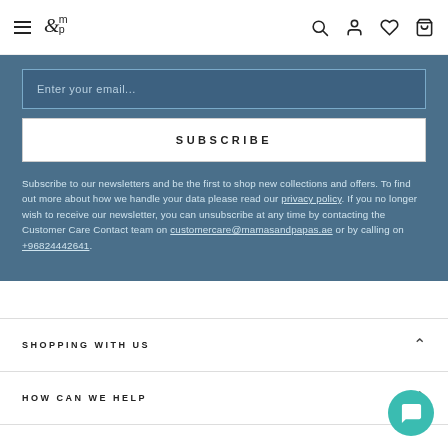m&p (Mamas & Papas) navigation header with hamburger menu, logo, search, account, wishlist, and cart icons
Enter your email...
SUBSCRIBE
Subscribe to our newsletters and be the first to shop new collections and offers. To find out more about how we handle your data please read our privacy policy. If you no longer wish to receive our newsletter, you can unsubscribe at any time by contacting the Customer Care Contact team on customercare@mamasandpapas.ae or by calling on +96824442641.
SHOPPING WITH US
HOW CAN WE HELP
TOP CATEGORIES